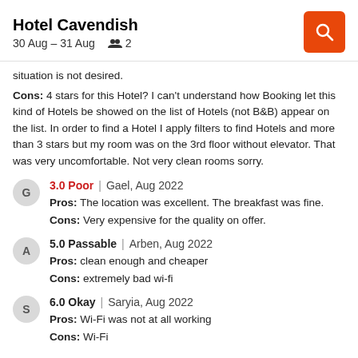Hotel Cavendish | 30 Aug – 31 Aug | 2 guests
situation is not desired.
Cons: 4 stars for this Hotel? I can't understand how Booking let this kind of Hotels be showed on the list of Hotels (not B&B) appear on the list. In order to find a Hotel I apply filters to find Hotels and more than 3 stars but my room was on the 3rd floor without elevator. That was very uncomfortable. Not very clean rooms sorry.
3.0 Poor | Gael, Aug 2022
Pros: The location was excellent. The breakfast was fine.
Cons: Very expensive for the quality on offer.
5.0 Passable | Arben, Aug 2022
Pros: clean enough and cheaper
Cons: extremely bad wi-fi
6.0 Okay | Saryia, Aug 2022
Pros: Wi-Fi was not at all working
Cons: Wi-Fi